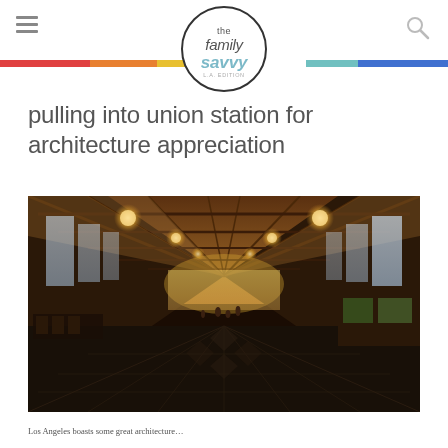the family savvy L.A. Edition
pulling into union station for architecture appreciation
[Figure (photo): Interior of Los Angeles Union Station showing the grand main waiting hall with ornate wooden beam ceiling, large hanging chandeliers, patterned marble floor, tall arched windows, seating areas, and people walking through the hall.]
Los Angeles boasts some great architecture…